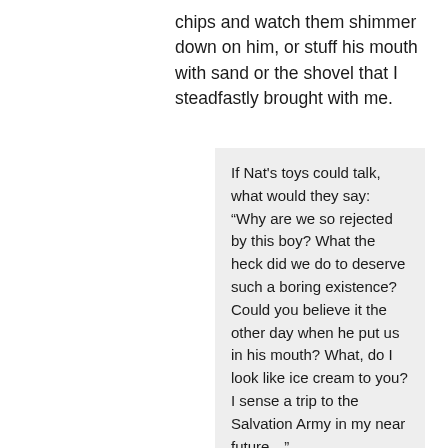chips and watch them shimmer down on him, or stuff his mouth with sand or the shovel that I steadfastly brought with me.
If Nat's toys could talk, what would they say: “Why are we so rejected by this boy? What the heck did we do to deserve such a boring existence? Could you believe it the other day when he put us in his mouth? What, do I look like ice cream to you? I sense a trip to the Salvation Army in my near future…”